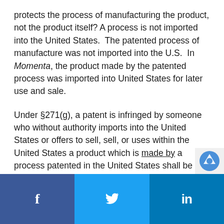protects the process of manufacturing the product, not the product itself? A process is not imported into the United States.  The patented process of manufacture was not imported into the U.S.  In Momenta, the product made by the patented process was imported into United States for later use and sale.
Under §271(g), a patent is infringed by someone who without authority imports into the United States or offers to sell, sell, or uses within the United States a product which is made by a process patented in the United States shall be liable as an infringer, if the importation, offer to sell, or the use of the product occurs during the term of such process patent.
[Figure (other): Social media share buttons: Facebook (dark blue), Twitter (light blue), LinkedIn (medium blue)]